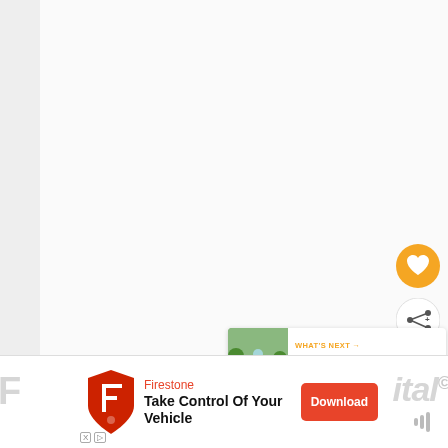[Figure (screenshot): Mobile app screenshot showing a mostly blank/white content area with UI overlay elements: an orange heart/favorite button, a white share button, a 'What's Next' panel showing 'Things to Do at Forsyth...' with a thumbnail image, and an advertisement banner at the bottom for Firestone with text 'Take Control Of Your Vehicle' and a Download button.]